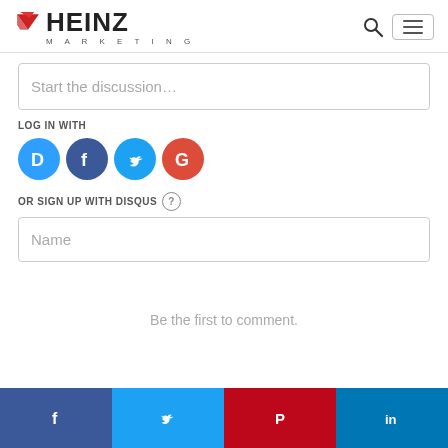[Figure (logo): Heinz Marketing logo with red triangle/arrow icon and HEINZ MARKETING text]
Start the discussion…
LOG IN WITH
[Figure (infographic): Social login icons: Disqus (blue D), Facebook (dark blue F), Twitter (light blue bird), Google (red G)]
OR SIGN UP WITH DISQUS ?
Name
Be the first to comment.
[Figure (infographic): Social share footer bar with Facebook, Twitter, Pinterest, LinkedIn icons]